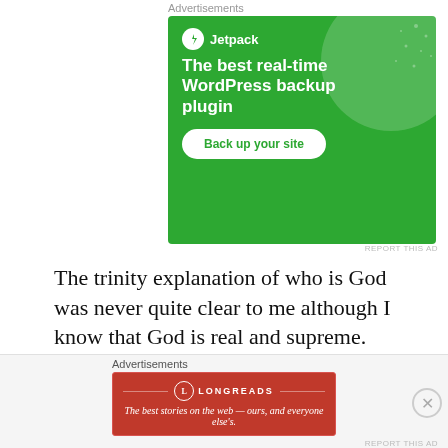Advertisements
[Figure (screenshot): Jetpack advertisement banner with green background. Logo and text: 'The best real-time WordPress backup plugin'. Button: 'Back up your site'.]
REPORT THIS AD
The trinity explanation of who is God was never quite clear to me although I know that God is real and supreme. My knowing of a
Advertisements
[Figure (screenshot): Longreads advertisement banner with red background. Logo and tagline: 'The best stories on the web — ours, and everyone else's.']
REPORT THIS AD